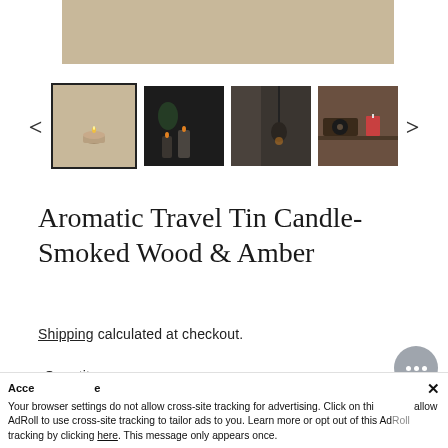[Figure (photo): Main product image area showing beige/tan background — top portion visible]
[Figure (photo): Thumbnail gallery row with 4 product photos: 1) candle on beige bg (selected), 2) dark scene with bottles and candles, 3) dark room interior with hanging item, 4) warm-toned room with candles on shelf. Navigation arrows on left and right.]
Aromatic Travel Tin Candle- Smoked Wood & Amber
Shipping calculated at checkout.
Quantity
Your browser settings do not allow cross-site tracking for advertising. Click on this to allow AdRoll to use cross-site tracking to tailor ads to you. Learn more or opt out of this AdRoll tracking by clicking here. This message only appears once.